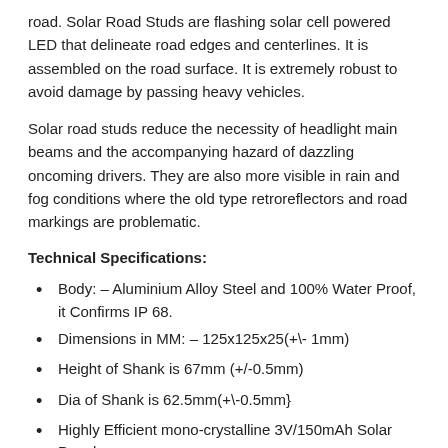road. Solar Road Studs are flashing solar cell powered LED that delineate road edges and centerlines. It is assembled on the road surface. It is extremely robust to avoid damage by passing heavy vehicles.
Solar road studs reduce the necessity of headlight main beams and the accompanying hazard of dazzling oncoming drivers. They are also more visible in rain and fog conditions where the old type retroreflectors and road markings are problematic.
Technical Specifications:
Body: – Aluminium Alloy Steel and 100% Water Proof, it Confirms IP 68.
Dimensions in MM: – 125x125x25(+\- 1mm)
Height of Shank is 67mm (+/-0.5mm)
Dia of Shank is 62.5mm(+\-0.5mm}
Highly Efficient mono-crystalline 3V/150mAh Solar Panel
NiMh Battery (1.2V/2000mAh)
LED lights in 6 pcs( 8mm Super Luminosity Led) Dual